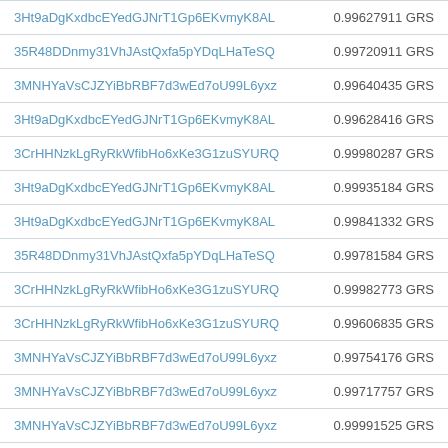| Address | Amount |
| --- | --- |
| 3Ht9aDgKxdbcEYedGJNrT1Gp6EKvmyK8AL | 0.99627911 GRS |
| 35R48DDnmy31VhJAstQxfa5pYDqLHaTeSQ | 0.99720911 GRS |
| 3MNHYaVsCJZYiBbRBF7d3wEd7oU99L6yxz | 0.99640435 GRS |
| 3Ht9aDgKxdbcEYedGJNrT1Gp6EKvmyK8AL | 0.99628416 GRS |
| 3CrHHNzkLgRyRkWfibHo6xKe3G1zuSYURQ | 0.99980287 GRS |
| 3Ht9aDgKxdbcEYedGJNrT1Gp6EKvmyK8AL | 0.99935184 GRS |
| 3Ht9aDgKxdbcEYedGJNrT1Gp6EKvmyK8AL | 0.99841332 GRS |
| 35R48DDnmy31VhJAstQxfa5pYDqLHaTeSQ | 0.99781584 GRS |
| 3CrHHNzkLgRyRkWfibHo6xKe3G1zuSYURQ | 0.99982773 GRS |
| 3CrHHNzkLgRyRkWfibHo6xKe3G1zuSYURQ | 0.99606835 GRS |
| 3MNHYaVsCJZYiBbRBF7d3wEd7oU99L6yxz | 0.99754176 GRS |
| 3MNHYaVsCJZYiBbRBF7d3wEd7oU99L6yxz | 0.99717757 GRS |
| 3MNHYaVsCJZYiBbRBF7d3wEd7oU99L6yxz | 0.99991525 GRS |
| 3MNHYaVsCJZYiBbRBF7d3wEd7oU99L6yxz | 0.99569256 GRS |
| FYswtn5qrFxiRJDNMDqYTj2YQUw8vdAKxH | 10.01603907 GRS |